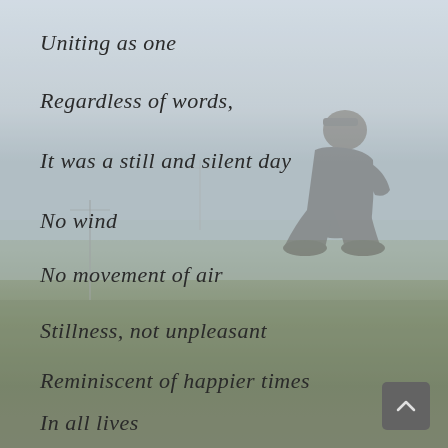[Figure (photo): A person sitting in a grassy field on a still, overcast day, viewed from behind/side, with power lines visible in the background. The image has a muted, washed-out color palette with a light sky and green-brown field.]
Uniting as one
Regardless of words,
It was a still and silent day
No wind
No movement of air
Stillness, not unpleasant
Reminiscent of happier times
In all lives